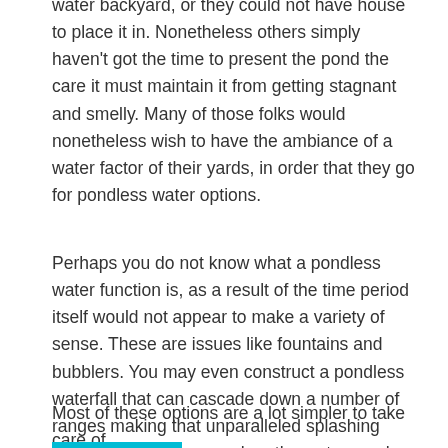water backyard, or they could not have house to place it in. Nonetheless others simply haven't got the time to present the pond the care it must maintain it from getting stagnant and smelly. Many of those folks would nonetheless wish to have the ambiance of a water factor of their yards, in order that they go for pondless water options.
Perhaps you do not know what a pondless water function is, as a result of the time period itself would not appear to make a variety of sense. These are issues like fountains and bubblers. You may even construct a pondless waterfall that can cascade down a number of ranges making that unparalleled splashing water sound, however when the water reaches the underside, it disappears right into a mattress of gravel with out making a pond.
Most of these options are a lot simpler to take care of